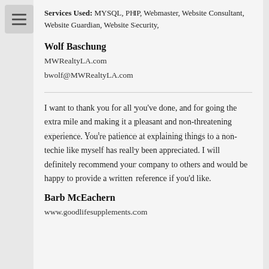Services Used: MYSQL, PHP, Webmaster, Website Consultant, Website Guardian, Website Security,
Wolf Baschung
MWRealtyLA.com
bwolf@MWRealtyLA.com
I want to thank you for all you've done, and for going the extra mile and making it a pleasant and non-threatening experience. You're patience at explaining things to a non-techie like myself has really been appreciated. I will definitely recommend your company to others and would be happy to provide a written reference if you'd like.
Barb McEachern
www.goodlifesupplements.com